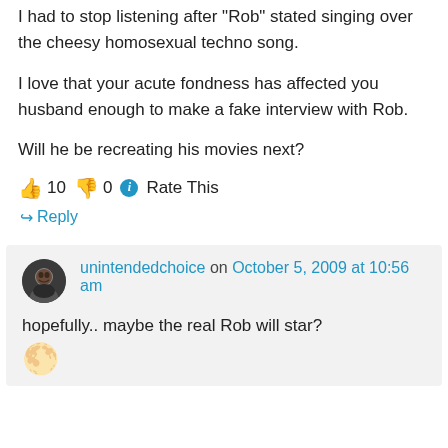I had to stop listening after “Rob” stated singing over the cheesy homosexual techno song.
I love that your acute fondness has affected you husband enough to make a fake interview with Rob.
Will he be recreating his movies next?
👍 10 👎 0 ⓘ Rate This
↪ Reply
unintendedchoice on October 5, 2009 at 10:56 am
hopefully.. maybe the real Rob will star?